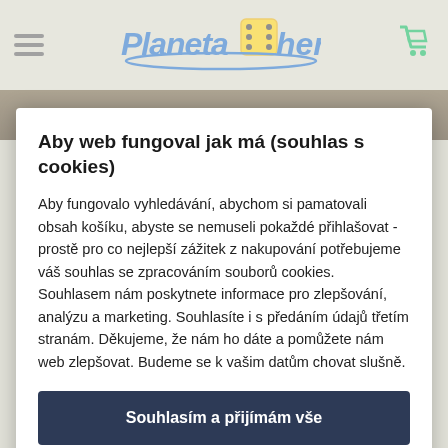[Figure (logo): Planeta her logo with dice and shopping cart icon in header]
Aby web fungoval jak má (souhlas s cookies)
Aby fungovalo vyhledávání, abychom si pamatovali obsah košíku, abyste se nemuseli pokaždé přihlašovat - prostě pro co nejlepší zážitek z nakupování potřebujeme váš souhlas se zpracováním souborů cookies. Souhlasem nám poskytnete informace pro zlepšování, analýzu a marketing. Souhlasíte i s předáním údajů třetím stranám. Děkujeme, že nám ho dáte a pomůžete nám web zlepšovat. Budeme se k vašim datům chovat slušně.
Souhlasím a přijímám vše
Podrobné nastavení